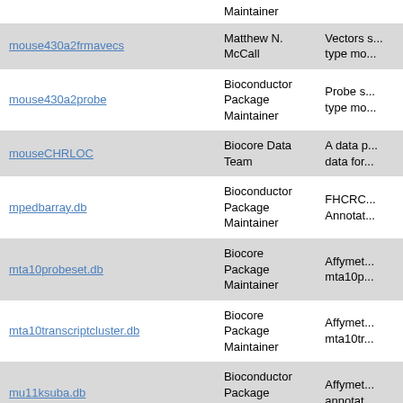| Package | Maintainer | Description |
| --- | --- | --- |
| mouse430a2frmavecs | Matthew N. McCall | Vectors... type mo... |
| mouse430a2probe | Bioconductor Package Maintainer | Probe s... type mo... |
| mouseCHRLOC | Biocore Data Team | A data p... data for... |
| mpedbarray.db | Bioconductor Package Maintainer | FHCRC... Annotat... |
| mta10probeset.db | Biocore Package Maintainer | Affymet... mta10p... |
| mta10transcriptcluster.db | Biocore Package Maintainer | Affymet... mta10tr... |
| mu11ksuba.db | Bioconductor Package Maintainer | Affymet... annotat... |
| mu11ksubacdf | Bioconductor Package Maintainer | mu11ks... |
| mu11ksubaprobe | Bioconductor Package Maintainer | Probe s... type mu... |
| mu11ksubb.db | Bioconductor Package Maintainer | Affymet... annotat... |